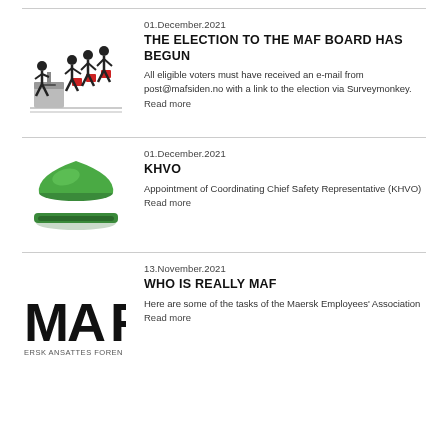[Figure (illustration): Stick figures voting at a ballot box, with red ballot boxes]
01.December.2021
THE ELECTION TO THE MAF BOARD HAS BEGUN
All eligible voters must have received an e-mail from post@mafsiden.no with a link to the election via Surveymonkey.
Read more
[Figure (photo): Green hard hat / safety helmet]
01.December.2021
KHVO
Appointment of Coordinating Chief Safety Representative (KHVO)
Read more
[Figure (logo): MAF logo - Maersk Ansattes Forening partial logo showing MAF letters and text ERSK ANSATTES FOREN]
13.November.2021
WHO IS REALLY MAF
Here are some of the tasks of the Maersk Employees' Association
Read more